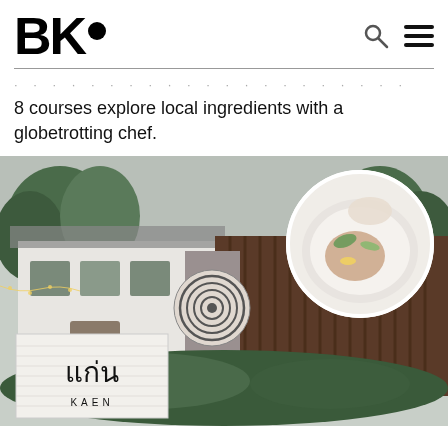BK•
8 courses explore local ingredients with a globetrotting chef.
[Figure (photo): Exterior of Kaen restaurant showing a building with wooden and white brick facade, trees, a circular decorative element, a white brick sign reading 'แก่น KAEN', and an inset circular image of a plated dish with fresh ingredients.]